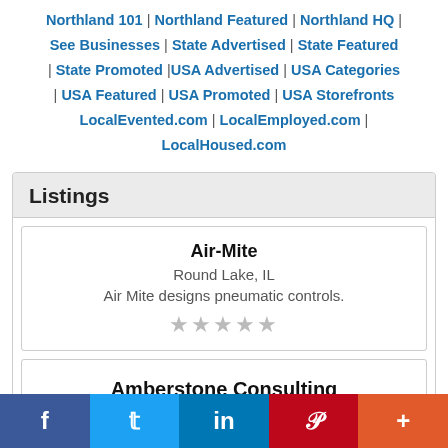Northland 101 | Northland Featured | Northland HQ | See Businesses | State Advertised | State Featured | State Promoted | USA Advertised | USA Categories | USA Featured | USA Promoted | USA Storefronts LocalEvented.com | LocalEmployed.com | LocalHoused.com
Listings
Air-Mite
Round Lake, IL
Air Mite designs pneumatic controls.
★★★★★
Amberstone Consulting
f  t  in  P  +